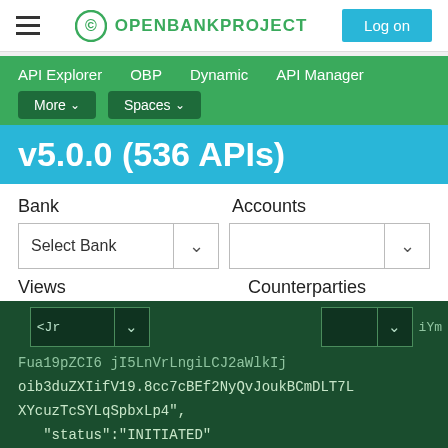OPENBANKPROJECT — Log on
API Explorer  OBP  Dynamic  API Manager  More  Spaces
v5.0.0 (536 APIs)
Bank  Accounts  Select Bank  Views  Counterparties
Fua19pZCI6...jI5LnVrLngiLCJ2aW...lkIj oib3duZXIifV19.8cc7cBEf2NyQvJoukBCmDLT7L XYcuzTcSYLqSpbxLp4",
    "status":"INITIATED"
}